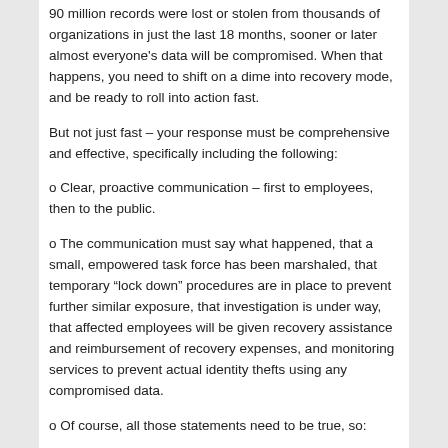90 million records were lost or stolen from thousands of organizations in just the last 18 months, sooner or later almost everyone's data will be compromised. When that happens, you need to shift on a dime into recovery mode, and be ready to roll into action fast.
But not just fast – your response must be comprehensive and effective, specifically including the following:
o Clear, proactive communication – first to employees, then to the public.
o The communication must say what happened, that a small, empowered task force has been marshaled, that temporary “lock down” procedures are in place to prevent further similar exposure, that investigation is under way, that affected employees will be given recovery assistance and reimbursement of recovery expenses, and monitoring services to prevent actual identity thefts using any compromised data.
o Of course, all those statements need to be true, so: